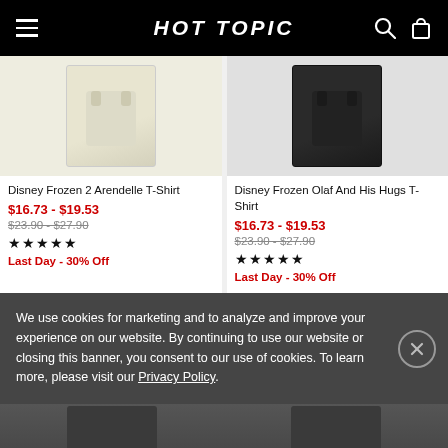HOT TOPIC
[Figure (photo): Product image of Disney Frozen 2 Arendelle T-Shirt (cream/beige colored)]
Disney Frozen 2 Arendelle T-Shirt
$16.73 - $19.53
$23.90 - $27.90
★★★★★
Last Day - 30% Off
[Figure (photo): Product image of Disney Frozen Olaf And His Hugs T-Shirt (black colored)]
Disney Frozen Olaf And His Hugs T-Shirt
$16.73 - $19.53
$23.90 - $27.90
★★★★★
Last Day - 30% Off
We use cookies for marketing and to analyze and improve your experience on our website. By continuing to use our website or closing this banner, you consent to our use of cookies. To learn more, please visit our Privacy Policy.